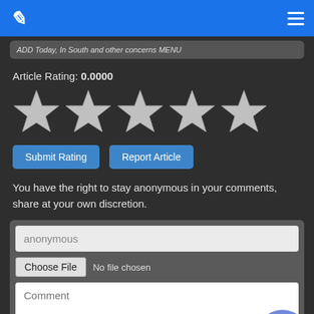Navigation bar with logo and hamburger menu
Article Rating: 0.0000
[Figure (other): Five empty star rating icons in a row]
Submit Rating  Report Article
You have the right to stay anonymous in your comments, share at your own discretion.
anonymous (text input), Choose File  No file chosen, Comment (textarea)
[Figure (logo): Discord logo bubble in lower right corner]